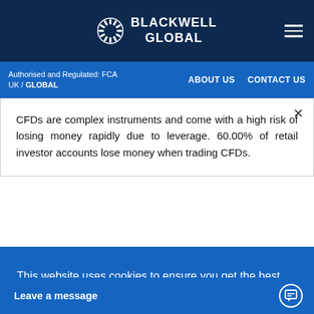BLACKWELL GLOBAL
Authorised and Regulated: FCA UK / GLOBAL | ABOUT US | CONTACT US
CFDs are complex instruments and come with a high risk of losing money rapidly due to leverage. 60.00% of retail investor accounts lose money when trading CFDs.
Bitcoin and the Great British Pound (GBP) have shown very little or inverse correlation in the past. But with
This website uses cookies to ensure you get the best experience on our website. Learn more
Got it!
Leave a message